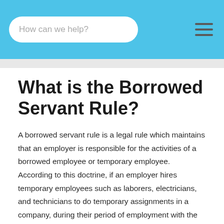How can we help?
What is the Borrowed Servant Rule?
A borrowed servant rule is a legal rule which maintains that an employer is responsible for the activities of a borrowed employee or temporary employee. According to this doctrine, if an employer hires temporary employees such as laborers, electricians, and technicians to do temporary assignments in a company, during their period of employment with the company, the employer is liable for their actions. The borrowed servant rule is legally-binding to all employers. This doctrine maintains that employers owe borrowed servants (employees) the same